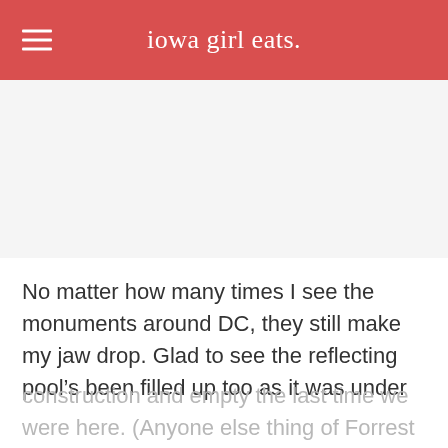iowa girl eats.
[Figure (photo): White blank/placeholder image area]
No matter how many times I see the monuments around DC, they still make my jaw drop. Glad to see the reflecting pool's been filled up too as it was under construction and empty the last time we were here. (Anyone else thing of Forrest